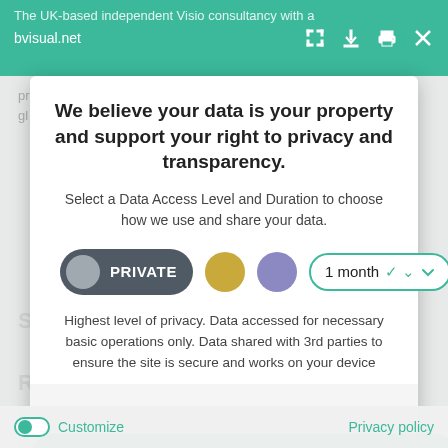The UK-based independent Visio consultancy with a bvisual.net
We believe your data is your property and support your right to privacy and transparency.
Select a Data Access Level and Duration to choose how we use and share your data.
PRIVATE   [gold dot]   [purple dot]   1 month ∨
Highest level of privacy. Data accessed for necessary basic operations only. Data shared with 3rd parties to ensure the site is secure and works on your device
Save my preferences
Customize   Privacy policy